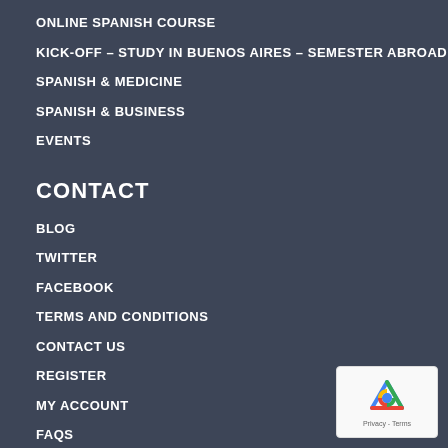ONLINE SPANISH COURSE
KICK-OFF – STUDY IN BUENOS AIRES – SEMESTER ABROAD
SPANISH & MEDICINE
SPANISH & BUSINESS
EVENTS
CONTACT
BLOG
TWITTER
FACEBOOK
TERMS AND CONDITIONS
CONTACT US
REGISTER
MY ACCOUNT
FAQS